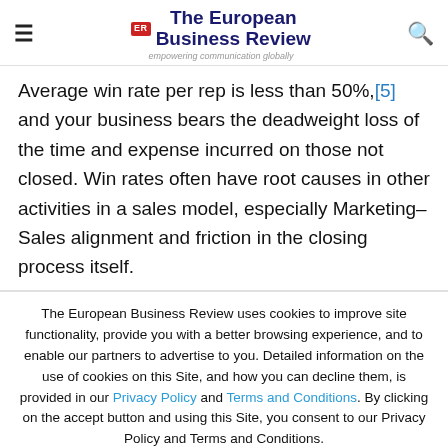The European Business Review — empowering communication globally
Average win rate per rep is less than 50%,[5] and your business bears the deadweight loss of the time and expense incurred on those not closed. Win rates often have root causes in other activities in a sales model, especially Marketing–Sales alignment and friction in the closing process itself.
The European Business Review uses cookies to improve site functionality, provide you with a better browsing experience, and to enable our partners to advertise to you. Detailed information on the use of cookies on this Site, and how you can decline them, is provided in our Privacy Policy and Terms and Conditions. By clicking on the accept button and using this Site, you consent to our Privacy Policy and Terms and Conditions.